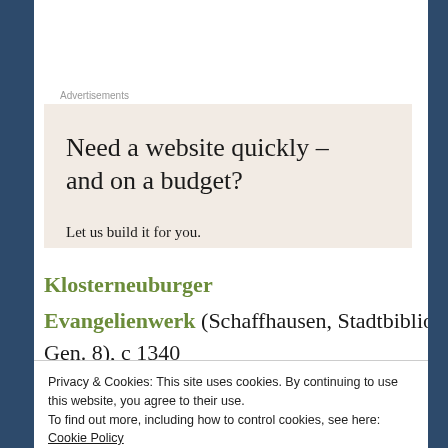Advertisements
[Figure (other): Advertisement box with beige/warm background. Text reads: 'Need a website quickly – and on a budget? Let us build it for you.']
Klosterneuburger
Evangelienwerk (Schaffhausen, Stadtbibliothek,
Gen. 8), c 1340
Privacy & Cookies: This site uses cookies. By continuing to use this website, you agree to their use. To find out more, including how to control cookies, see here: Cookie Policy
Close and accept